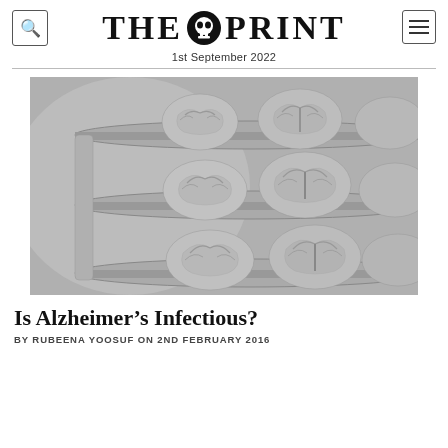THE PRINT — 1st September 2022
[Figure (photo): Black and white photograph of multiple human brain models arranged on tiered shelves/trays, stacked in rows.]
Is Alzheimer's Infectious?
BY RUBEENA YOOSUF ON 2ND FEBRUARY 2016